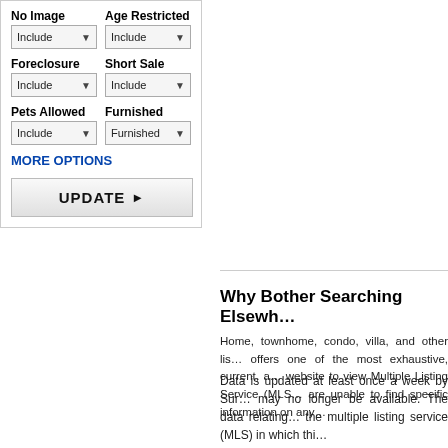No Image | Age Restricted
Include ▾ | Include ▾
Foreclosure | Short Sale
Include ▾ | Include ▾
Pets Allowed | Furnished
Include ▾ | Furnished ▾
MORE OPTIONS
UPDATE ▶
Why Bother Searching Elsewh...
Home, townhome, condo, villa, and other lis... offers one of the most exhaustive, current, a... website to view Multiple Listing Service (MLS... are unable to find specific information on any...
Data is updated at least once a week by Sur... may no longer be available. The data relating... the multiple listing service (MLS) in which thi...